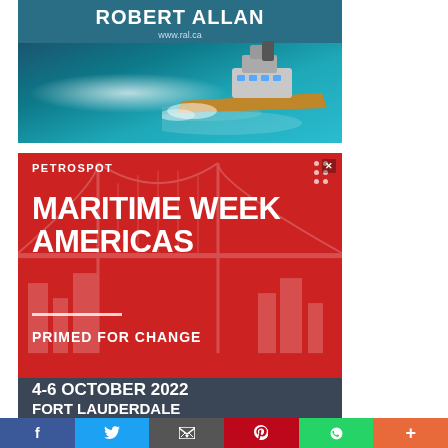[Figure (photo): Robert Allan advertisement showing a tugboat on water with 'ROBERT ALLAN' text and www.ral.ca URL]
[Figure (infographic): Petrospot Maritime Week Americas advertisement on red background with text '4-6 OCTOBER 2022 FORT LAUDERDALE' on dark gray bar, tagline 'PRIMED FOR CHANGE']
[Figure (infographic): Social media sharing bar with Facebook, Twitter, Email, Pinterest, WhatsApp, and More buttons]